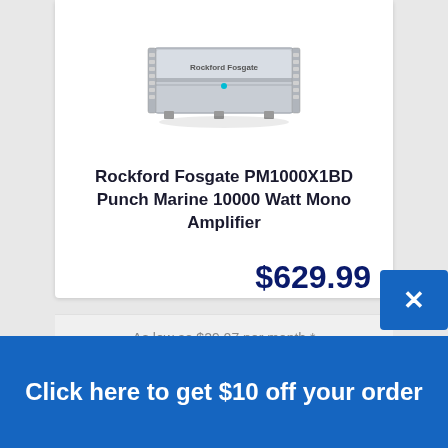[Figure (photo): Rockford Fosgate PM1000X1BD marine amplifier, silver/grey colored unit with LED lights on sides]
Rockford Fosgate PM1000X1BD Punch Marine 10000 Watt Mono Amplifier
$629.99
As low as $29.07 per month *
Click here to get $10 off your order